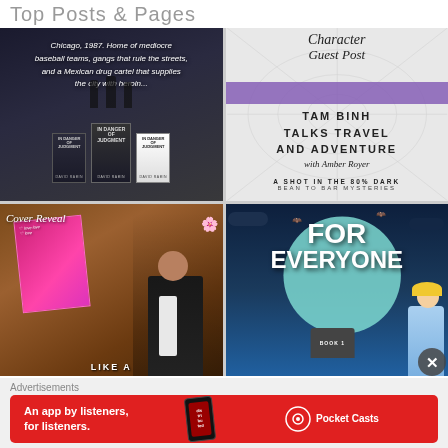Top Posts & Pages
[Figure (photo): Dark scene with three book covers for 'In Danger of Judgment' by David Rabin. Text overlay reads: 'Chicago, 1987. Home of mediocre baseball teams, gangs that rule the streets, and a Mexican drug cartel that supplies the city with heroin...']
[Figure (photo): Character Guest Post promotional image with spider-web background. Purple band at top with italic script 'Character Guest Post'. Main text: 'Tam Binh talks Travel and Adventure with Amber Royer'. Bottom text: 'A Shot in the 80% Dark, Bean to Bar Mysteries']
[Figure (photo): Cover Reveal promotional image with wood background. Pink romance book cover featuring a man in a suit. Script text 'Cover Reveal' in top left. Partial bottom text visible.]
[Figure (photo): Night scene with large teal moon, bats, and cartoon blonde woman. Large white text reads 'FOR EVERYONE'. Tombstone at bottom reads 'BOOK 1'.]
Advertisements
[Figure (photo): Red advertisement banner for Pocket Casts app. Text: 'An app by listeners, for listeners.' Shows phone with 'dis tri bu ted' on screen and Pocket Casts logo on right.]